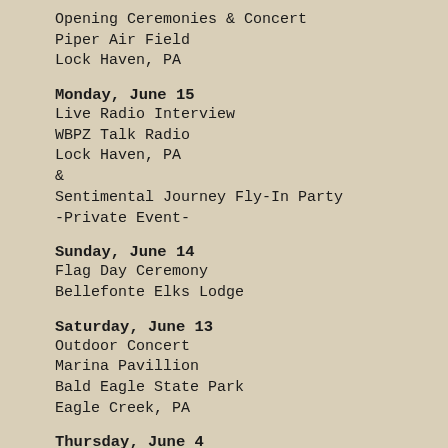Opening Ceremonies & Concert
Piper Air Field
Lock Haven, PA
Monday, June 15
Live Radio Interview
WBPZ Talk Radio
Lock Haven, PA
&
Sentimental Journey Fly-In Party
-Private Event-
Sunday, June 14
Flag Day Ceremony
Bellefonte Elks Lodge
Saturday, June 13
Outdoor Concert
Marina Pavillion
Bald Eagle State Park
Eagle Creek, PA
Thursday, June 4
Chino Hills Air Museum
-Private Event-
Chino Hills, CA